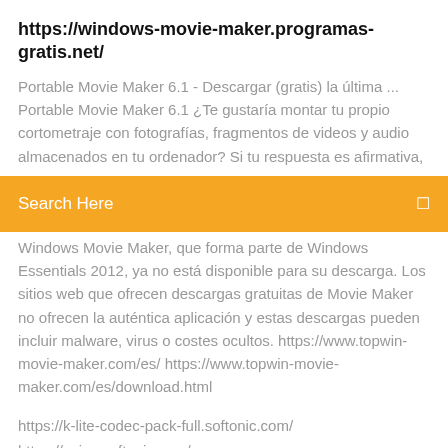https://windows-movie-maker.programas-gratis.net/
Portable Movie Maker 6.1 - Descargar (gratis) la última ...
Portable Movie Maker 6.1 ¿Te gustaría montar tu propio cortometraje con fotografías, fragmentos de videos y audio almacenados en tu ordenador? Si tu respuesta es afirmativa,
[Figure (screenshot): Orange search bar overlay with text 'Search Here' and a search icon on the right]
Windows Movie Maker, que forma parte de Windows Essentials 2012, ya no está disponible para su descarga. Los sitios web que ofrecen descargas gratuitas de Movie Maker no ofrecen la auténtica aplicación y estas descargas pueden incluir malware, virus o costes ocultos. https://www.topwin-movie-maker.com/es/ https://www.topwin-movie-maker.com/es/download.html
https://k-lite-codec-pack-full.softonic.com/
https://xpize.softonic.com/